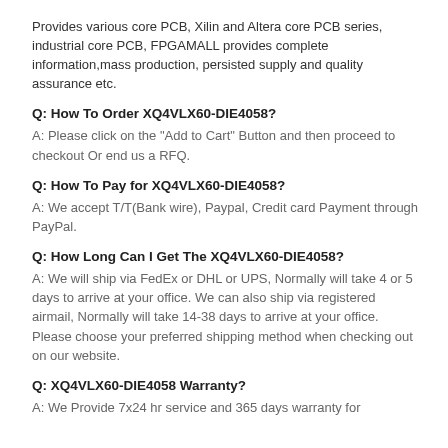Provides various core PCB, Xilin and Altera core PCB series, industrial core PCB, FPGAMALL provides complete information,mass production, persisted supply and quality assurance etc.
Q: How To Order XQ4VLX60-DIE4058?
A: Please click on the "Add to Cart" Button and then proceed to checkout Or end us a RFQ.
Q: How To Pay for XQ4VLX60-DIE4058?
A: We accept T/T(Bank wire), Paypal, Credit card Payment through PayPal.
Q: How Long Can I Get The XQ4VLX60-DIE4058?
A: We will ship via FedEx or DHL or UPS, Normally will take 4 or 5 days to arrive at your office. We can also ship via registered airmail, Normally will take 14-38 days to arrive at your office. Please choose your preferred shipping method when checking out on our website.
Q: XQ4VLX60-DIE4058 Warranty?
A: We Provide 7x24 hr service and 365 days warranty for